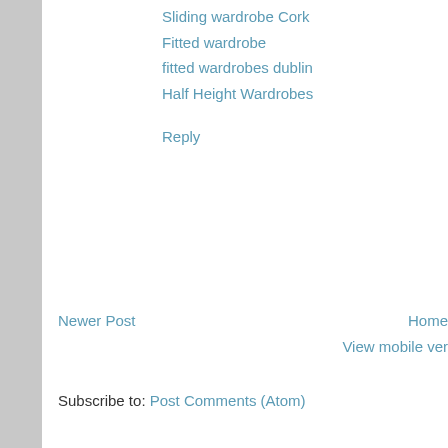Sliding wardrobe Cork
Fitted wardrobe
fitted wardrobes dublin
Half Height Wardrobes
Reply
Newer Post
Home
View mobile ver
Subscribe to: Post Comments (Atom)